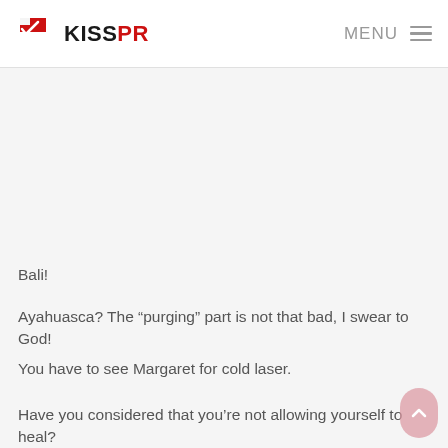KISSPR  MENU
Bali!
Ayahuasca? The “purging” part is not that bad, I swear to God!
You have to see Margaret for cold laser.
Have you considered that you’re not allowing yourself to heal?